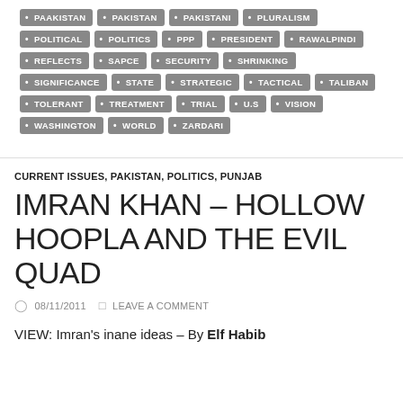PAAKISTAN • PAKISTAN • PAKISTANI • PLURALISM • POLITICAL • POLITICS • PPP • PRESIDENT • RAWALPINDI • REFLECTS • SAPCE • SECURITY • SHRINKING • SIGNIFICANCE • STATE • STRATEGIC • TACTICAL • TALIBAN • TOLERANT • TREATMENT • TRIAL • U.S • VISION • WASHINGTON • WORLD • ZARDARI
CURRENT ISSUES, PAKISTAN, POLITICS, PUNJAB
IMRAN KHAN – HOLLOW HOOPLA AND THE EVIL QUAD
08/11/2011  LEAVE A COMMENT
VIEW: Imran's inane ideas – By Elf Habib